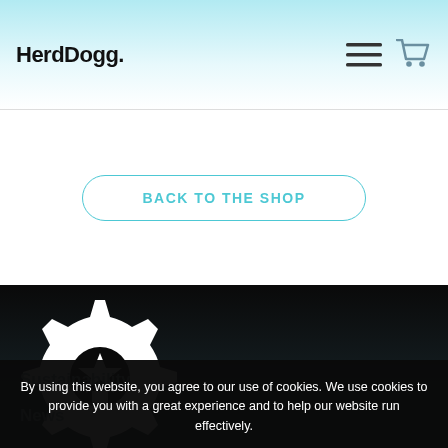HerdDogg.
BACK TO THE SHOP
[Figure (logo): HerdDogg gear/dog logo in white on black background]
By using this website, you agree to our use of cookies. We use cookies to provide you with a great experience and to help our website run effectively.
I ACCEPT
Sustainability
News